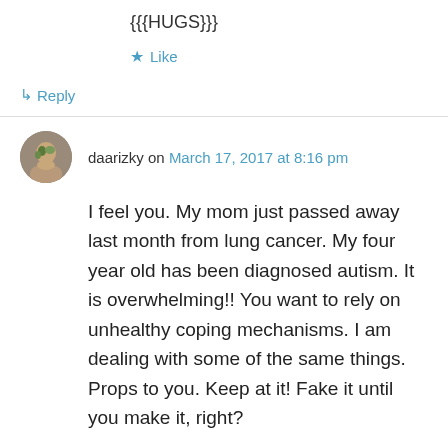{{{HUGS}}}
★ Like
↳ Reply
daarizky on March 17, 2017 at 8:16 pm
I feel you. My mom just passed away last month from lung cancer. My four year old has been diagnosed autism. It is overwhelming!! You want to rely on unhealthy coping mechanisms. I am dealing with some of the same things. Props to you. Keep at it! Fake it until you make it, right?
★ Like
↳ Reply